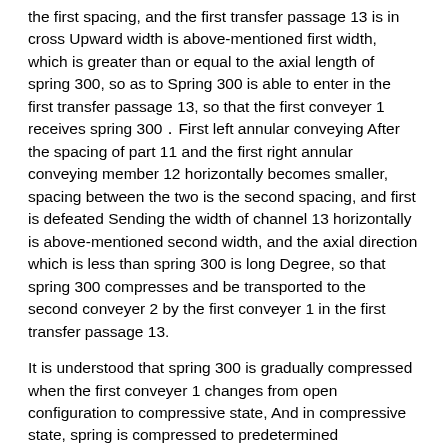the first spacing, and the first transfer passage 13 is in cross Upward width is above-mentioned first width, which is greater than or equal to the axial length of spring 300, so as to Spring 300 is able to enter in the first transfer passage 13, so that the first conveyer 1 receives spring 300．First left annular conveying After the spacing of part 11 and the first right annular conveying member 12 horizontally becomes smaller, spacing between the two is the second spacing, and first is defeated Sending the width of channel 13 horizontally is above-mentioned second width, and the axial direction which is less than spring 300 is long Degree, so that spring 300 compresses and be transported to the second conveyer 2 by the first conveyer 1 in the first transfer passage 13.
It is understood that spring 300 is gradually compressed when the first conveyer 1 changes from open configuration to compressive state, And in compressive state, spring is compressed to predetermined amount.Further, the first conveyer 1 can also once receive at least two One group of spring 300, and when receiving one group of spring 300, the spring 300 in disposable received one group of spring 300 is pressed simultaneously.It contracts and is